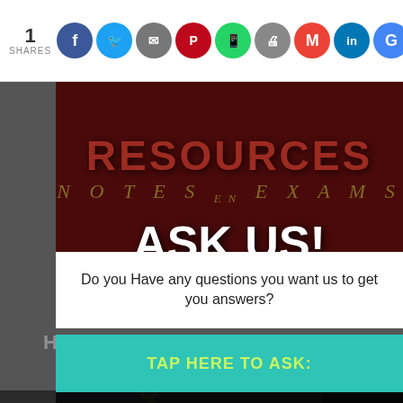1 SHARES
[Figure (screenshot): Social share icons: Facebook, Twitter, Email, Pinterest, WhatsApp, Print, Gmail, LinkedIn, Google]
[Figure (screenshot): Dark red banner with RESOURCES text, NOTES EN EXAMS italic text, and large white ASK US! text overlay]
Do you Have any questions you want us to get you answers?
HIGH SCHOOL EXAMINATIONS
SHOP
TAP HERE TO ASK:
[Figure (screenshot): Graduation cap icon on dark background]
No Thanks!
KCSE PAST PAPERS
QUESTIONS